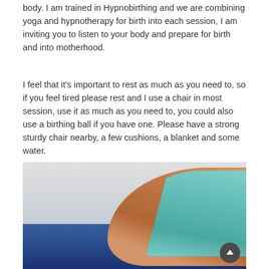body. I am trained in Hypnobirthing and we are combining yoga and hypnotherapy for birth into each session, I am inviting you to listen to your body and prepare for birth and into motherhood.
I feel that it's important to rest as much as you need to, so if you feel tired please rest and I use a chair in most session, use it as much as you need to, you could also use a birthing ball if you have one. Please have a strong sturdy chair nearby, a few cushions, a blanket and some water.
[Figure (photo): A pregnant woman in a light blue/teal tank top, shown from the side/back, with a blue yoga mat in the background. A scroll-to-top button is visible in the lower right corner.]